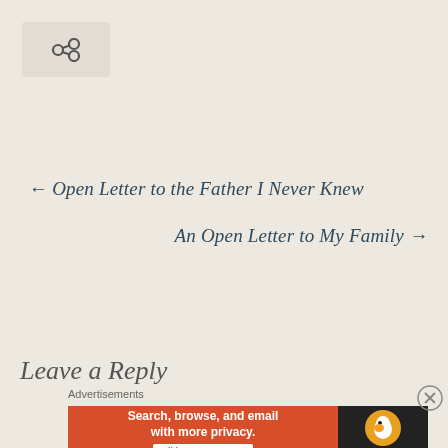[Figure (other): Share icon (chain link symbol) in a light rounded box]
← Open Letter to the Father I Never Knew
An Open Letter to My Family →
Leave a Reply
Advertisements
[Figure (other): DuckDuckGo advertisement banner: orange-red background on left with text 'Search, browse, and email with more privacy.' and 'All in One Free App' button; dark right panel with DuckDuckGo duck logo and brand name]